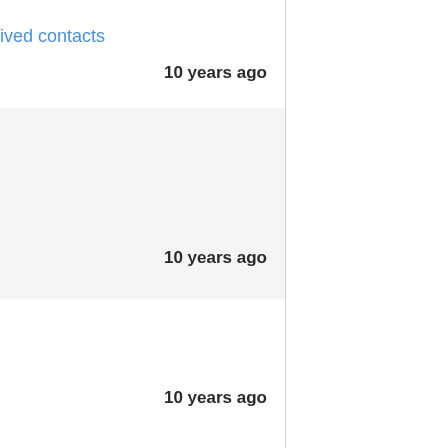ived contacts
10 years ago
10 years ago
10 years ago